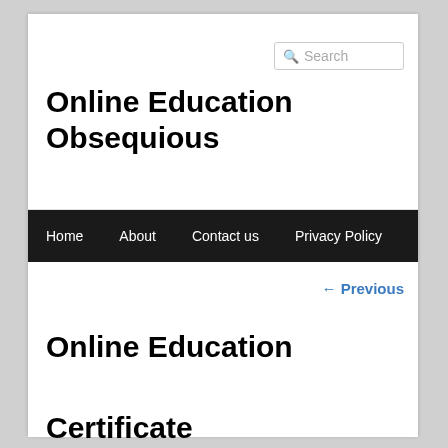Online Education Obsequious
Search
Home  About  Contact us  Privacy Policy
← Previous
Online Education Certificate